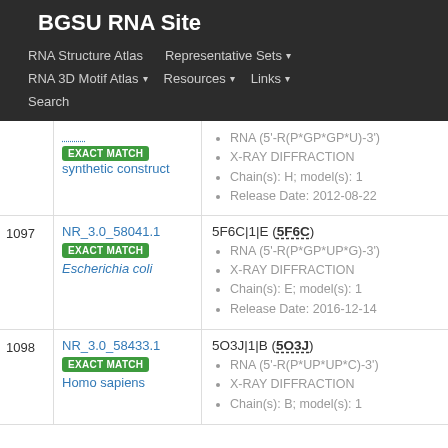BGSU RNA Site
RNA Structure Atlas | Representative Sets | RNA 3D Motif Atlas | Resources | Links | Search
| # | Cluster | Structure Info |
| --- | --- | --- |
|  | EXACT MATCH
synthetic construct | RNA (5'-R(P*GP*GP*U)-3')
X-RAY DIFFRACTION
Chain(s): H; model(s): 1
Release Date: 2012-08-22 |
| 1097 | NR_3.0_58041.1
EXACT MATCH
Escherichia coli | 5F6C|1|E (5F6C)
RNA (5'-R(P*GP*UP*G)-3')
X-RAY DIFFRACTION
Chain(s): E; model(s): 1
Release Date: 2016-12-14 |
| 1098 | NR_3.0_58433.1
EXACT MATCH
Homo sapiens | 5O3J|1|B (5O3J)
RNA (5'-R(P*UP*UP*C)-3')
X-RAY DIFFRACTION
Chain(s): B; model(s): 1 |